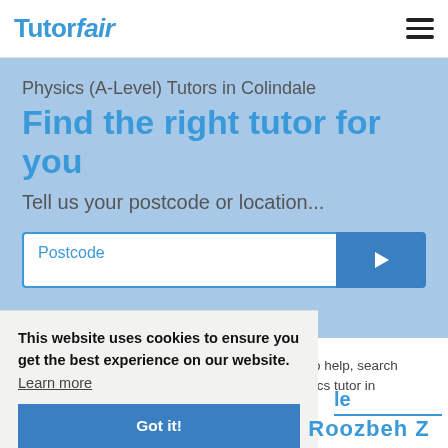[Figure (logo): TutorFair logo in blue with 'Tutor' bold and 'fair' in italic]
Physics (A-Level) Tutors in Colindale
Find the right tutor for you
Tell us your postcode or location...
Postcode
Our A-Level Physics tutors in Colindale are here to help, search using your postcode to find the best A-Level Physics tutor in Colindale.
This website uses cookies to ensure you get the best experience on our website. Learn more
Got it!
le
Roozbeh Z